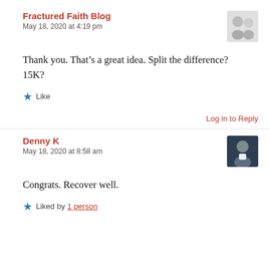Fractured Faith Blog
May 18, 2020 at 4:19 pm
Thank you. That's a great idea. Split the difference? 15K?
Like
Log in to Reply
Denny K
May 18, 2020 at 8:58 am
Congrats. Recover well.
Liked by 1 person